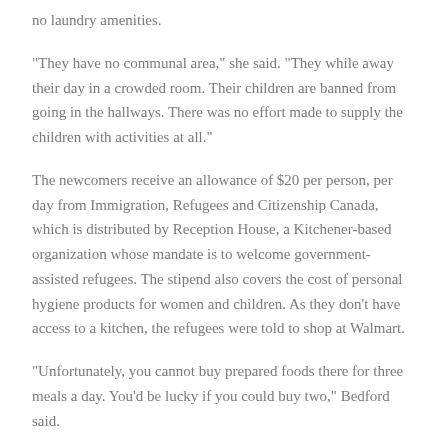no laundry amenities.
“They have no communal area,” she said. “They while away their day in a crowded room. Their children are banned from going in the hallways. There was no effort made to supply the children with activities at all.”
The newcomers receive an allowance of $20 per person, per day from Immigration, Refugees and Citizenship Canada, which is distributed by Reception House, a Kitchener-based organization whose mandate is to welcome government-assisted refugees. The stipend also covers the cost of personal hygiene products for women and children. As they don’t have access to a kitchen, the refugees were told to shop at Walmart.
“Unfortunately, you cannot buy prepared foods there for three meals a day. You’d be lucky if you could buy two,” Bedford said.
One of the refugees at the Comfort Inn is Sayed Salahuddin, who was formerly a journalist for The Washington Post and Reuters.